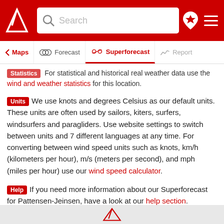Windguru website header with logo, search bar, location icon, and menu icon
Navigation: Maps | Forecast | Superforecast (active) | Report
...For statistical and historical real weather data use the wind and weather statistics for this location.
Units  We use knots and degrees Celsius as our default units. These units are often used by sailors, kiters, surfers, windsurfers and paragliders. Use website settings to switch between units and 7 different languages at any time. For converting between wind speed units such as knots, km/h (kilometers per hour), m/s (meters per second), and mph (miles per hour) use our wind speed calculator.
Help  If you need more information about our Superforecast for Pattensen-Jeinsen, have a look at our help section.